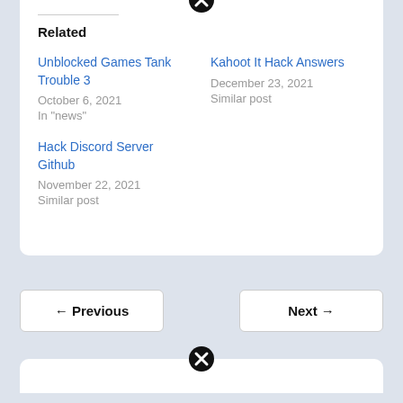Related
Unblocked Games Tank Trouble 3
October 6, 2021
In "news"
Kahoot It Hack Answers
December 23, 2021
Similar post
Hack Discord Server Github
November 22, 2021
Similar post
← Previous
Next →